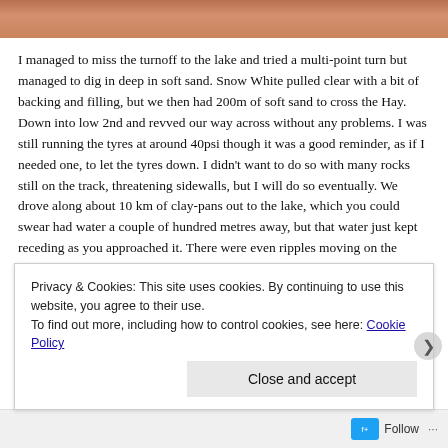[Figure (photo): Partial photo strip at top of page showing reddish-brown sandy/rocky terrain]
I managed to miss the turnoff to the lake and tried a multi-point turn but managed to dig in deep in soft sand. Snow White pulled clear with a bit of backing and filling, but we then had 200m of soft sand to cross the Hay. Down into low 2nd and revved our way across without any problems. I was still running the tyres at around 40psi though it was a good reminder, as if I needed one, to let the tyres down. I didn't want to do so with many rocks still on the track, threatening sidewalls, but I will do so eventually. We drove along about 10 km of clay-pans out to the lake, which you could swear had water a couple of hundred metres away, but that water just kept receding as you approached it. There were even ripples moving on the surface as if there was a wind. Then when you looked back at where you had come from, there was that water again across the tracks. Back to the Hay and a second crossing without drama, and we resumed
Privacy & Cookies: This site uses cookies. By continuing to use this website, you agree to their use.
To find out more, including how to control cookies, see here: Cookie Policy
Close and accept